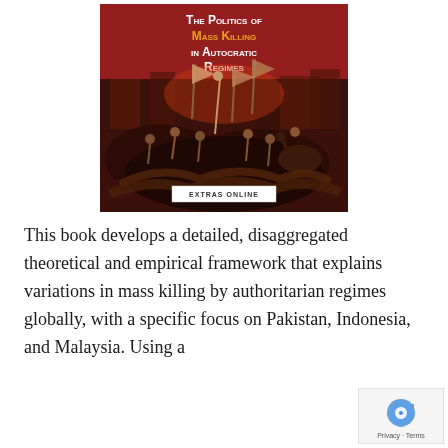[Figure (illustration): Book cover for 'The Politics of Mass Killing in Autocratic Regimes' showing a historical crowd/revolution scene with figures holding flags against a dark red background, with a white 'EXTRAS ONLINE' badge at the bottom.]
This book develops a detailed, disaggregated theoretical and empirical framework that explains variations in mass killing by authoritarian regimes globally, with a specific focus on Pakistan, Indonesia, and Malaysia. Using a